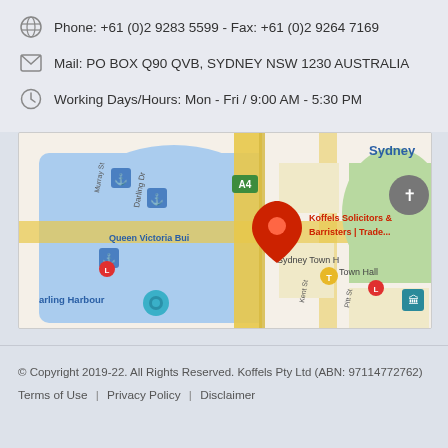Phone: +61 (0)2 9283 5599 - Fax: +61 (0)2 9264 7169
Mail: PO BOX Q90 QVB, SYDNEY NSW 1230 AUSTRALIA
Working Days/Hours: Mon - Fri / 9:00 AM - 5:30 PM
[Figure (map): Google Maps screenshot showing location of Koffels Solicitors & Barristers near Queen Victoria Building, Sydney Town Hall, and Darling Harbour area in Sydney, Australia.]
© Copyright 2019-22. All Rights Reserved. Koffels Pty Ltd (ABN: 97114772762)
Terms of Use | Privacy Policy | Disclaimer